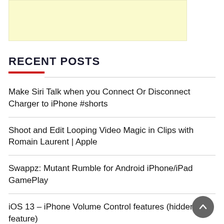[Figure (other): Yellow/cream colored advertisement banner rectangle]
RECENT POSTS
Make Siri Talk when you Connect Or Disconnect Charger to iPhone #shorts
Shoot and Edit Looping Video Magic in Clips with Romain Laurent | Apple
Swappz: Mutant Rumble for Android iPhone/iPad GamePlay
iOS 13 – iPhone Volume Control features (hidden feature)
#03 How hackers break into computer systems & security measures to avoid such attacks